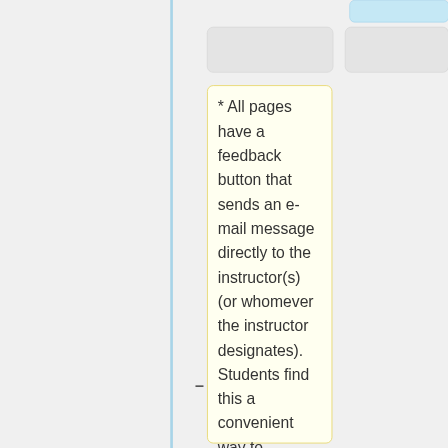* All pages have a feedback button that sends an e-mail message directly to the instructor(s) (or whomever the instructor designates). Students find this a convenient way to communicate with their instructor, usually requesting help on a particular point. Student pages also have a help button that